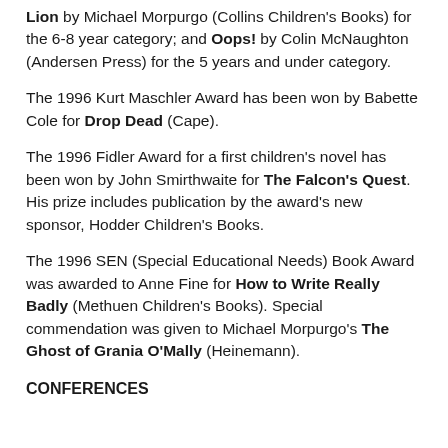Lion by Michael Morpurgo (Collins Children's Books) for the 6-8 year category; and Oops! by Colin McNaughton (Andersen Press) for the 5 years and under category.
The 1996 Kurt Maschler Award has been won by Babette Cole for Drop Dead (Cape).
The 1996 Fidler Award for a first children's novel has been won by John Smirthwaite for The Falcon's Quest. His prize includes publication by the award's new sponsor, Hodder Children's Books.
The 1996 SEN (Special Educational Needs) Book Award was awarded to Anne Fine for How to Write Really Badly (Methuen Children's Books). Special commendation was given to Michael Morpurgo's The Ghost of Grania O'Mally (Heinemann).
CONFERENCES